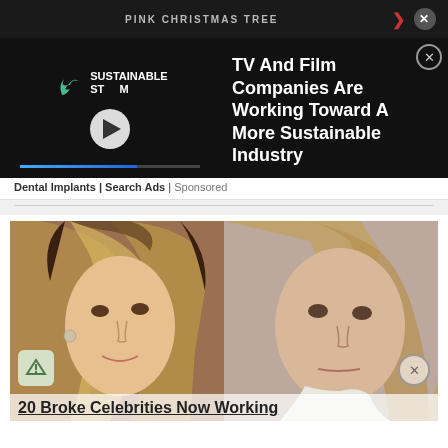[Figure (screenshot): Dark ad overlay with video player showing Sustainable Stream logo and play button, with progress bar. Right panel shows ad headline text on black background.]
PINK CHRISTMAS TREE
TV And Film Companies Are Working Toward A More Sustainable Industry
Dental Implants | Search Ads | Sponsored
[Figure (photo): Before and after comparison of a celebrity - left side shows a young attractive woman with highlighted hair, right side shows an older woman with plain appearance.]
20 Broke Celebrities Now Working